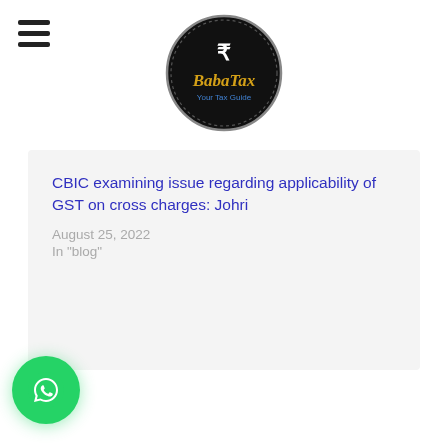BabaTax - Your Tax Guide
CBIC examining issue regarding applicability of GST on cross charges: Johri
August 25, 2022
In "blog"
[Figure (logo): WhatsApp chat button - green circle with WhatsApp logo]
Posted in blog
Tagged GST